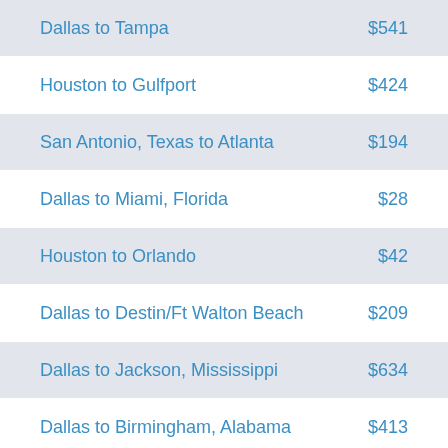| Route | Price |
| --- | --- |
| Dallas to Tampa | $541 |
| Houston to Gulfport | $424 |
| San Antonio, Texas to Atlanta | $194 |
| Dallas to Miami, Florida | $28 |
| Houston to Orlando | $42 |
| Dallas to Destin/Ft Walton Beach | $209 |
| Dallas to Jackson, Mississippi | $634 |
| Dallas to Birmingham, Alabama | $413 |